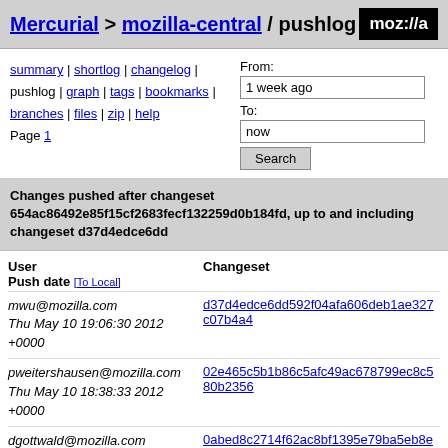Mercurial > mozilla-central / pushlog
summary | shortlog | changelog | pushlog | graph | tags | bookmarks | branches | files | zip | help
Page 1
From: 1 week ago
To: now
Search
Changes pushed after changeset 654ac86492e85f15cf2683fecf132259d0b184fd, up to and including changeset d37d4edce6dd
| User
Push date [To Local] | Changeset |
| --- | --- |
| mwu@mozilla.com
Thu May 10 19:06:30 2012
+0000 | d37d4edce6dd592f04afa606deb1ae327c07b4a4… |
| pweitershausen@mozilla.com
Thu May 10 18:38:33 2012
+0000 | 02e465c5b1b86c5afc49ac678799ec8c580b2356… |
| dgottwald@mozilla.com
Thu May 10 18:09:38 2012
+0000 | 0abed8c2714f62ac8bf1395e79ba5eb8ea527250… |
| jmaher@mozilla.com
Thu May 10 17:45:37 2012
+0000 | 27aadc2c995130444e99becefc5cd2e7097dbcbc… |
| rcampbell@mozilla.com | f80568dba0102302c05d1f92f87eea78b53c4a91… |